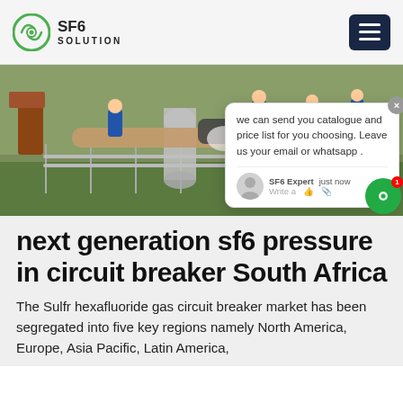SF6 SOLUTION
[Figure (photo): Workers in blue uniforms working on industrial SF6 gas circuit breaker equipment outdoors, with large pipes and machinery visible.]
we can send you catalogue and price list for you choosing. Leave us your email or whatsapp .
SF6 Expert   just now
Write a
next generation sf6 pressure in circuit breaker South Africa
The Sulfr hexafluoride gas circuit breaker market has been segregated into five key regions namely North America, Europe, Asia Pacific, Latin America,